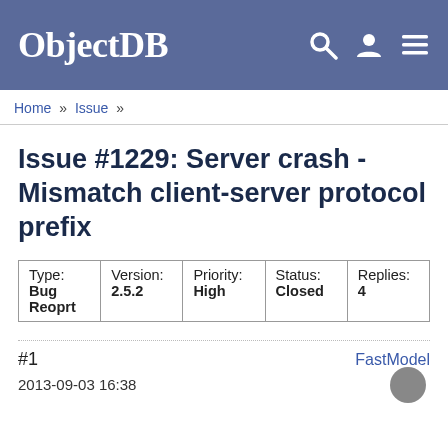ObjectDB
Home » Issue »
Issue #1229: Server crash - Mismatch client-server protocol prefix
| Type: Bug Reoprt | Version: 2.5.2 | Priority: High | Status: Closed | Replies: 4 |
| --- | --- | --- | --- | --- |
| Type: | Version: | Priority: | Status: | Replies: |
| Bug
Reoprt | 2.5.2 | High | Closed | 4 |
#1
FastModel
2013-09-03 16:38